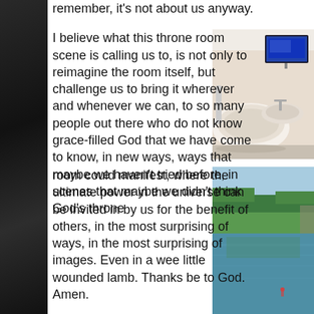remember, it's not about us anyway.
I believe what this throne room scene is calling us to, is not only to reimagine the room itself, but challenge us to bring it wherever and whenever we can, to so many people out there who do not know grace-filled God that we have come to know, in new ways, ways that maybe we haven't tried before, in scenes that maybe we didn't think God's throne
[Figure (photo): Interior photo showing a bathroom with a curved modern bathtub, wall-mounted TV screen, and minimalist fittings]
room could manifest, where the ultimate power in the universe can be invited in by us for the benefit of others, in the most surprising of ways, in the most surprising of images. Even in a wee little wounded lamb. Thanks be to God. Amen.
[Figure (photo): Outdoor photo showing a body of water (lake or pool) with green surroundings, possibly a golf course or park setting]